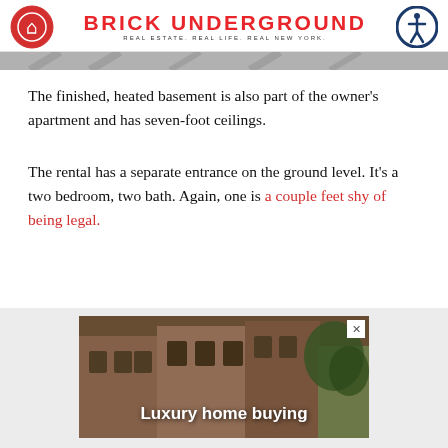BRICK UNDERGROUND — REAL ESTATE. REAL LIFE. REAL NEW YORK.
[Figure (photo): Partial view of a basement or interior image strip at the top of the content area]
The finished, heated basement is also part of the owner's apartment and has seven-foot ceilings.
The rental has a separate entrance on the ground level. It's a two bedroom, two bath. Again, one is a couple feet shy of being legal.
[Figure (photo): Advertisement image showing brownstone buildings with text 'Luxury home buying']